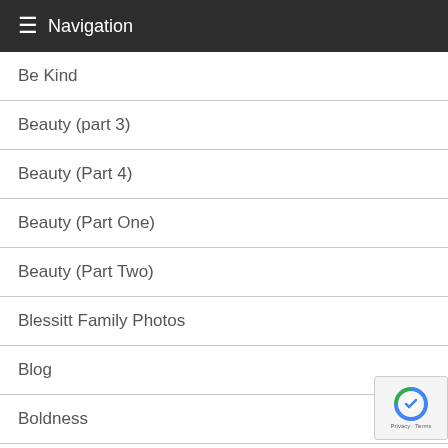≡ Navigation
Be Kind
Beauty (part 3)
Beauty (Part 4)
Beauty (Part One)
Beauty (Part Two)
Blessitt Family Photos
Blog
Boldness
Cart